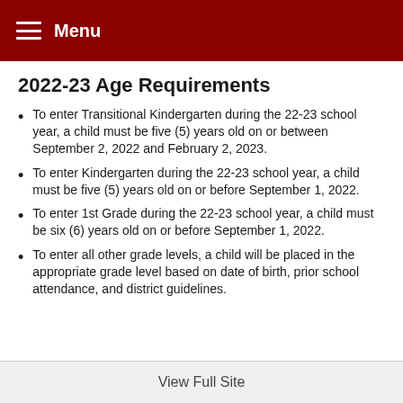Menu
2022-23 Age Requirements
To enter Transitional Kindergarten during the 22-23 school year, a child must be five (5) years old on or between September 2, 2022 and February 2, 2023.
To enter Kindergarten during the 22-23 school year, a child must be five (5) years old on or before September 1, 2022.
To enter 1st Grade during the 22-23 school year, a child must be six (6) years old on or before September 1, 2022.
To enter all other grade levels, a child will be placed in the appropriate grade level based on date of birth, prior school attendance, and district guidelines.
View Full Site